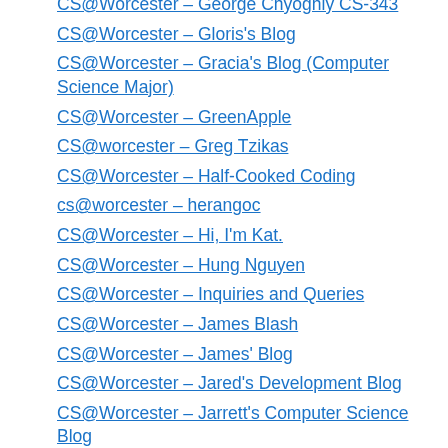CS@Worcester – George Chyoghly CS-343
CS@Worcester – Gloris's Blog
CS@Worcester – Gracia's Blog (Computer Science Major)
CS@Worcester – GreenApple
CS@worcester – Greg Tzikas
CS@Worcester – Half-Cooked Coding
cs@worcester – herangoc
CS@Worcester – Hi, I'm Kat.
CS@Worcester – Hung Nguyen
CS@Worcester – Inquiries and Queries
CS@Worcester – James Blash
CS@Worcester – James' Blog
CS@Worcester – Jared's Development Blog
CS@Worcester – Jarrett's Computer Science Blog
CS@Worcester – Jason Knowles – Webster, MA
CS@Worcester – Jeremy Studley's CS Blog
CS@Worcester – Jim Spisto
CS@Worcester – joshjoubert